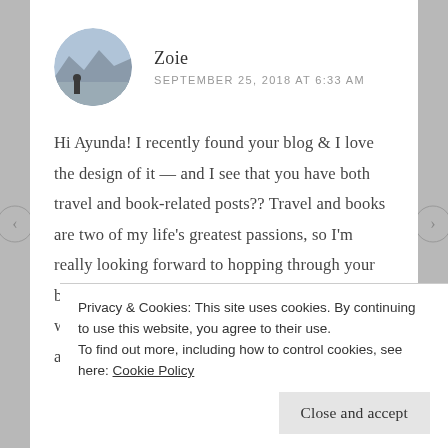[Figure (photo): Circular avatar photo of user Zoie, showing a landscape with hills and a figure in silhouette]
Zoie
SEPTEMBER 25, 2018 AT 6:33 AM
Hi Ayunda! I recently found your blog & I love the design of it — and I see that you have both travel and book-related posts?? Travel and books are two of my life's greatest passions, so I'm really looking forward to hopping through your blog! Hopefully I can quench some of this wanderlust in me that started after I got back from a summer of traveling
Privacy & Cookies: This site uses cookies. By continuing to use this website, you agree to their use.
To find out more, including how to control cookies, see here: Cookie Policy
Close and accept